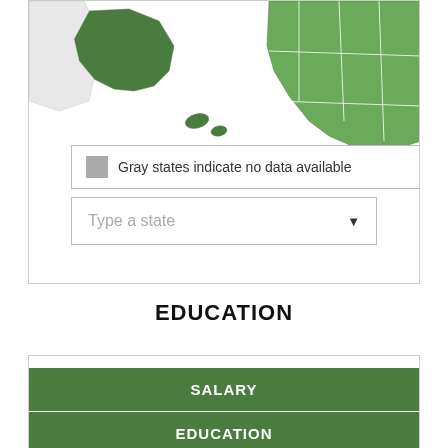[Figure (map): Partial US map showing states colored in green shades (Alaska, Hawaii visible bottom-left, southeastern US top-right). Gray states indicate no data available.]
Gray states indicate no data available
Type a state
EDUCATION
SALARY
EDUCATION